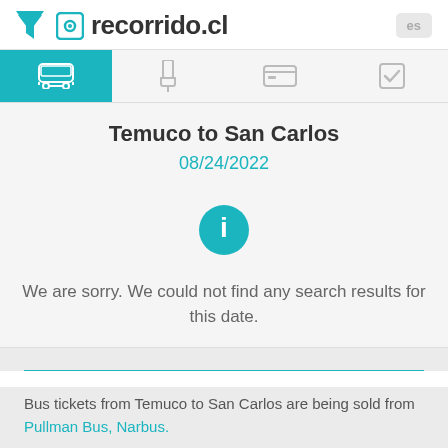recorrido.cl
Temuco to San Carlos
08/24/2022
We are sorry. We could not find any search results for this date.
Bus tickets from Temuco to San Carlos are being sold from Pullman Bus, Narbus.